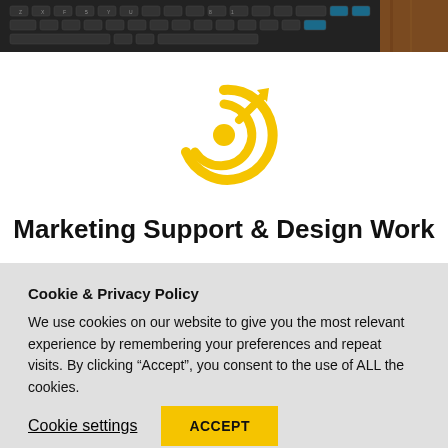[Figure (photo): Partial view of a dark computer keyboard on a wooden surface, cropped to show only the top portion]
[Figure (logo): Yellow target/bullseye icon with an arrow hitting the center, representing marketing or goal achievement]
Marketing Support & Design Work
Cookie & Privacy Policy
We use cookies on our website to give you the most relevant experience by remembering your preferences and repeat visits. By clicking “Accept”, you consent to the use of ALL the cookies.
Cookie settings
ACCEPT